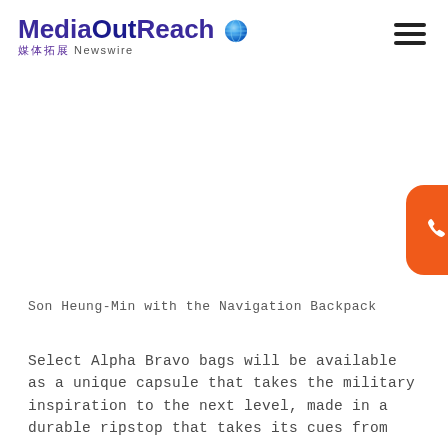MediaOutReach 媒体拓展 Newswire
[Figure (other): Orange rounded rectangle button with phone/call icon on right edge of page]
Son Heung-Min with the Navigation Backpack
Select Alpha Bravo bags will be available as a unique capsule that takes the military inspiration to the next level, made in a durable ripstop that takes its cues from